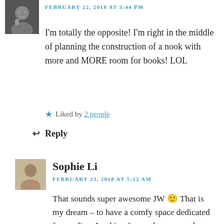FEBRUARY 22, 2018 AT 3:44 PM
I'm totally the opposite! I'm right in the middle of planning the construction of a nook with more and MORE room for books! LOL
Liked by 2 people
Reply
Sophie Li
FEBRUARY 23, 2018 AT 5:12 AM
That sounds super awesome JW 🙂 That is my dream – to have a comfy space dedicated for reading. Looking forward to a post about your reading nook (when it is finished? 🙂 )
Liked by 2 people